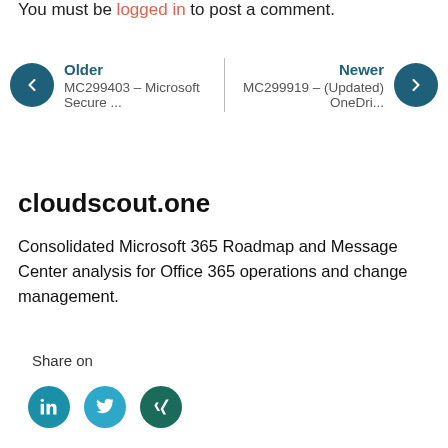You must be logged in to post a comment.
Older MC299403 – Microsoft Secure ... | Newer MC299919 – (Updated) OneDri...
cloudscout.one
Consolidated Microsoft 365 Roadmap and Message Center analysis for Office 365 operations and change management.
Share on
[Figure (infographic): Three circular social media share buttons: LinkedIn (teal), Twitter (light blue), Xing (dark teal)]